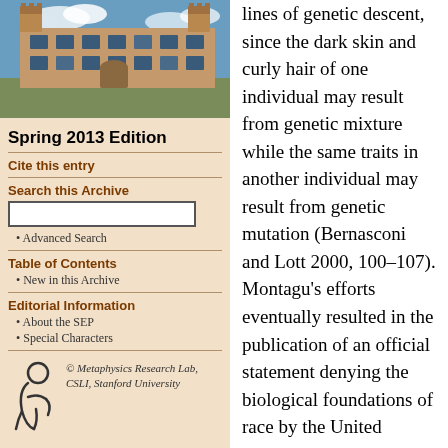[Figure (photo): Photograph of a university building (sandstone architecture) with a blue sky and clouds, likely Stanford or similar institution.]
Spring 2013 Edition
Cite this entry
Search this Archive
Advanced Search
Table of Contents
New in this Archive
Editorial Information
About the SEP
Special Characters
[Figure (logo): Metaphysics Research Lab logo — stylized figure/person icon]
© Metaphysics Research Lab, CSLI, Stanford University
lines of genetic descent, since the dark skin and curly hair of one individual may result from genetic mixture while the same traits in another individual may result from genetic mutation (Bernasconi and Lott 2000, 100–107). Montagu's efforts eventually resulted in the publication of an official statement denying the biological foundations of race by the United Nations Educational, Scientific, and Cultural Organization (UNESCO) in 1950, although it would take until 1996 for the American Association of Physical Anthropologists (AAPA) to publish a similar document (Brace 2005, 239).